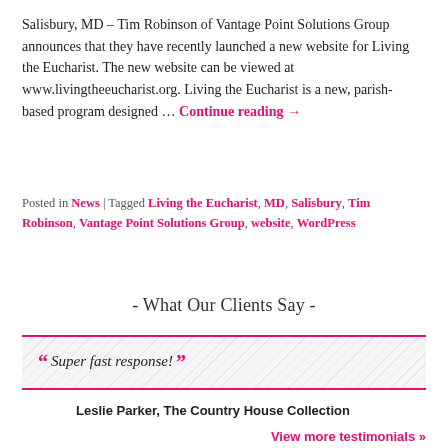Salisbury, MD – Tim Robinson of Vantage Point Solutions Group announces that they have recently launched a new website for Living the Eucharist. The new website can be viewed at www.livingtheeucharist.org. Living the Eucharist is a new, parish-based program designed … Continue reading →
Posted in News | Tagged Living the Eucharist, MD, Salisbury, Tim Robinson, Vantage Point Solutions Group, website, WordPress
- What Our Clients Say -
" Super fast response! "
Leslie Parker, The Country House Collection
View more testimonials »